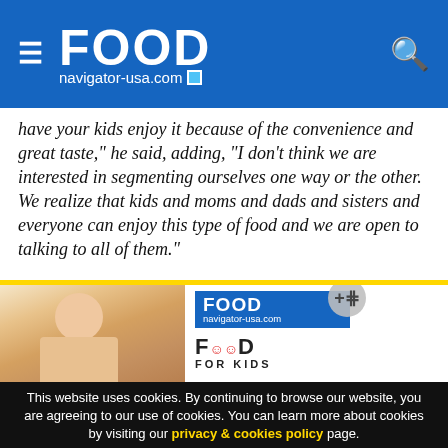FOOD navigator-usa.com
have your kids enjoy it because of the convenience and great taste," he said, adding, "I don't think we are interested in segmenting ourselves one way or the other. We realize that kids and moms and dads and sisters and everyone can enjoy this type of food and we are open to talking to all of them."
[Figure (screenshot): Child photo with FoodNavigator-USA logo and FOOD FOR KIDS branding]
This website uses cookies. By continuing to browse our website, you are agreeing to our use of cookies. You can learn more about cookies by visiting our privacy & cookies policy page.
I Agree